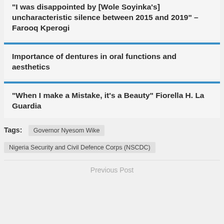“I was disappointed by [Wole Soyinka’s] uncharacteristic silence between 2015 and 2019” – Farooq Kperogi
Importance of dentures in oral functions and aesthetics
“When I make a Mistake, it’s a Beauty” Fiorella H. La Guardia
Tags: Governor Nyesom Wike | Nigeria Security and Civil Defence Corps (NSCDC)
Previous Post